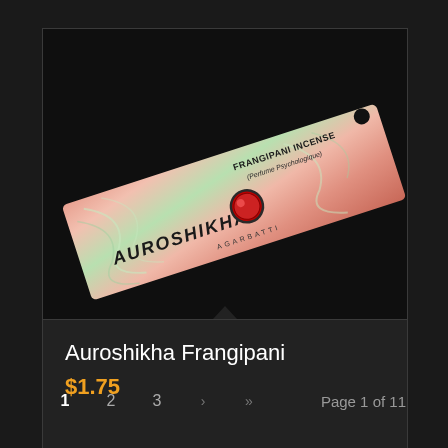[Figure (photo): Auroshikha Frangipani incense box, pink/salmon colored with green decorative swirl pattern, brand name AUROSHIKHA visible, AGARBATTI text, red circular emblem, displayed diagonally on dark background]
Auroshikha Frangipani
$1.75
Add to cart
Show Details
1  2  3  ›  »  Page 1 of 11